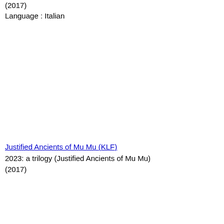(2017)
Language : Italian
Justified Ancients of Mu Mu (KLF)
2023: a trilogy (Justified Ancients of Mu Mu)
(2017)